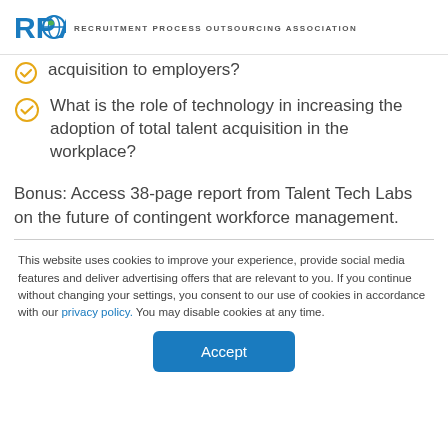RPOA — RECRUITMENT PROCESS OUTSOURCING ASSOCIATION
acquisition to employers?
What is the role of technology in increasing the adoption of total talent acquisition in the workplace?
Bonus: Access 38-page report from Talent Tech Labs on the future of contingent workforce management.
This website uses cookies to improve your experience, provide social media features and deliver advertising offers that are relevant to you. If you continue without changing your settings, you consent to our use of cookies in accordance with our privacy policy. You may disable cookies at any time.
Accept